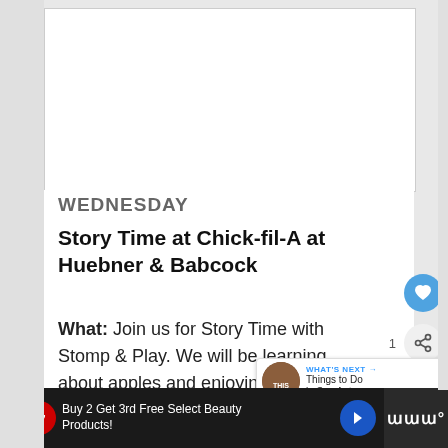[Figure (screenshot): White advertisement/placeholder box at top of page]
WEDNESDAY
Story Time at Chick-fil-A at Huebner & Babcock
What: Join us for Story Time with Stomp & Play. We will be learning about apples and enjoying an appley treat afterward!
When: September 19, 9:30 a.m. – [time] a.m.
[Figure (screenshot): Heart/favorite button (blue circle with heart icon) and share button overlay]
[Figure (screenshot): What's Next overlay: THIS WEEKEND thumbnail with text 'Things to Do in San Anto...']
[Figure (screenshot): Bottom advertisement bar: Walgreens - Buy 2 Get 3rd Free Select Beauty Products!]